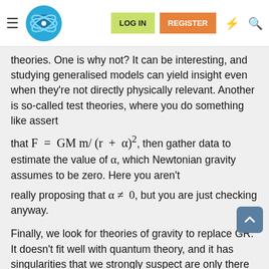LOG IN | REGISTER [navigation header with logo]
theories. One is why not? It can be interesting, and studying generalised models can yield insight even when they're not directly physically relevant. Another is so-called test theories, where you do something like assert that F = GMm/(r + α)², then gather data to estimate the value of α, which Newtonian gravity assumes to be zero. Here you aren't really proposing that α ≠ 0, but you are just checking anyway.
Finally, we look for theories of gravity to replace GR. It doesn't fit well with quantum theory, and it has singularities that we strongly suspect are only there in the maths. We expect